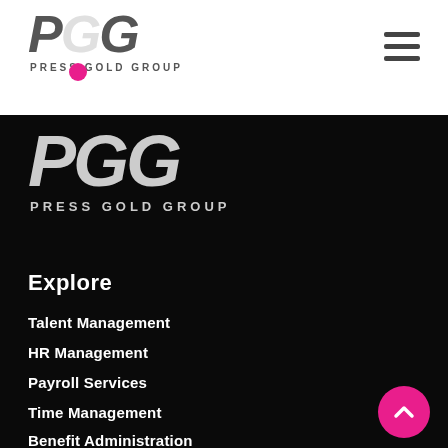[Figure (logo): Press Gold Group logo in white header bar with PGG text in grey/light grey and a pink dot]
[Figure (other): Hamburger/menu icon with three horizontal dark lines in top right of white header]
[Figure (logo): Press Gold Group logo on dark background with large PGG text in light grey italic and PRESS GOLD GROUP text below]
Explore
Talent Management
HR Management
Payroll Services
Time Management
Benefit Administration
[Figure (other): Pink circular back-to-top button with upward caret arrow in bottom right corner]